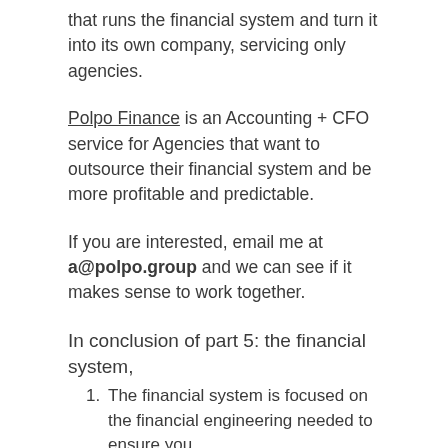that runs the financial system and turn it into its own company, servicing only agencies.
Polpo Finance is an Accounting + CFO service for Agencies that want to outsource their financial system and be more profitable and predictable.
If you are interested, email me at a@polpo.group and we can see if it makes sense to work together.
In conclusion of part 5: the financial system,
The financial system is focused on the financial engineering needed to ensure you